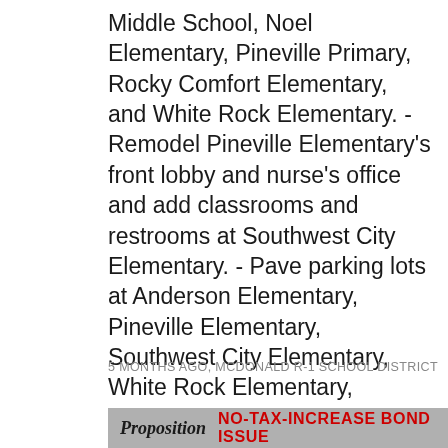Middle School, Noel Elementary, Pineville Primary, Rocky Comfort Elementary, and White Rock Elementary. - Remodel Pineville Elementary's front lobby and nurse's office and add classrooms and restrooms at Southwest City Elementary. - Pave parking lots at Anderson Elementary, Pineville Elementary, Southwest City Elementary, White Rock Elementary, Mustang Academy, and areas around the High School. Safety for students, staff, and the community. For more information, visit our website at mcdonaldr1.net #everydayMCS #PropositionKIDS #VoteTuesday #April5vote
5 MONTHS AGO, MCDONALD R-1 SCHOOL DISTRICT
Proposition NO-TAX-INCREASE Bond Issue